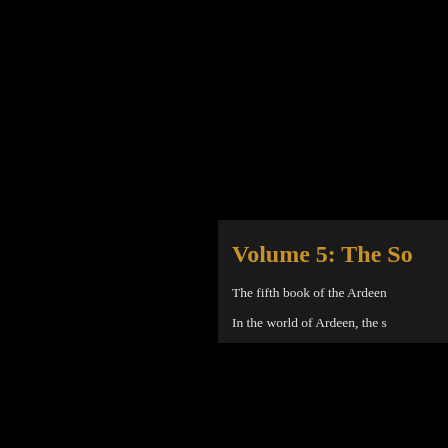News | Books | Ardeen
Volume 5: The So
The fifth book of the Ardeen
In the world of Ardeen, the s